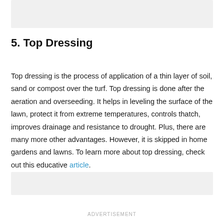[Figure (other): Gray placeholder image area at top of page]
5. Top Dressing
Top dressing is the process of application of a thin layer of soil, sand or compost over the turf. Top dressing is done after the aeration and overseeding. It helps in leveling the surface of the lawn, protect it from extreme temperatures, controls thatch, improves drainage and resistance to drought. Plus, there are many more other advantages. However, it is skipped in home gardens and lawns. To learn more about top dressing, check out this educative article.
[Figure (other): Gray placeholder image area at bottom of page]
ADVERTISEMENT